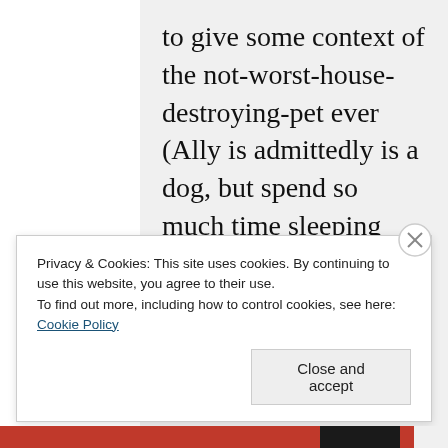to give some context of the not-worst-house-destroying-pet ever (Ally is admittedly is a dog, but spend so much time sleeping she's practically a cat, honestly).
MARCH 13, 2015 AT 3:34 PM
Privacy & Cookies: This site uses cookies. By continuing to use this website, you agree to their use. To find out more, including how to control cookies, see here: Cookie Policy
Close and accept